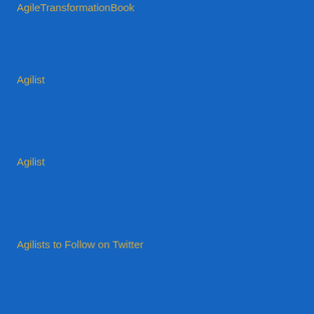AgileTransformationBook
Agilist
Agilist
Agilists to Follow on Twitter
Agility
Agility
Agility
Agility and collaboration
agitación
Agoura Hills